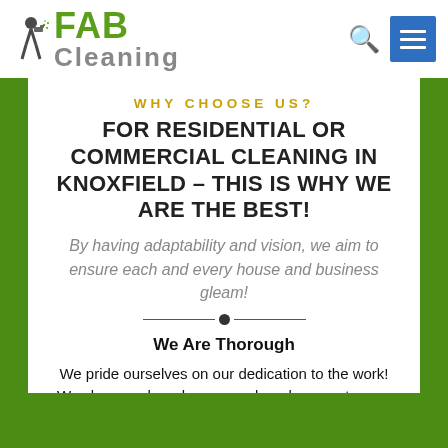FAB Cleaning
WHY CHOOSE US?
FOR RESIDENTIAL OR COMMERCIAL CLEANING IN KNOXFIELD – THIS IS WHY WE ARE THE BEST!
By having adaptability and vision, we aim to ensure each and every house and business gleam!
We Are Thorough
We pride ourselves on our dedication to the work! We clean each and every nook and cranny to your total satisfaction, and we are sure to double check our work every time well before